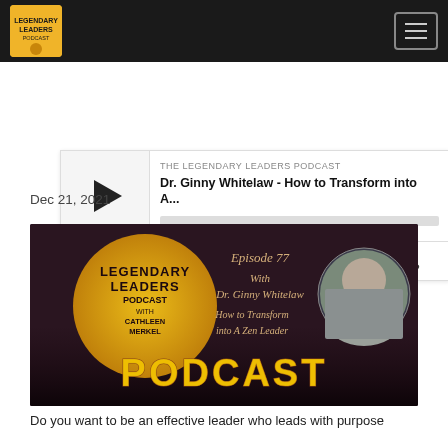[Figure (screenshot): Navigation bar with Legendary Leaders Podcast logo on left and hamburger menu on right, black background]
[Figure (screenshot): Podcast audio player widget showing 'THE LEGENDARY LEADERS PODCAST' label, episode title 'Dr. Ginny Whitelaw - How to Transform into A...' with play button, progress bar, timestamp 00:00:00 and control icons for RSS, download, embed, and share]
Dec 21, 2021
[Figure (photo): Legendary Leaders Podcast episode artwork showing host Cathleen Merkel and guest Dr. Ginny Whitelaw, Episode 77, 'How to Transform into A Zen Leader', with large PODCAST text in marquee lights]
Do you want to be an effective leader who leads with purpose